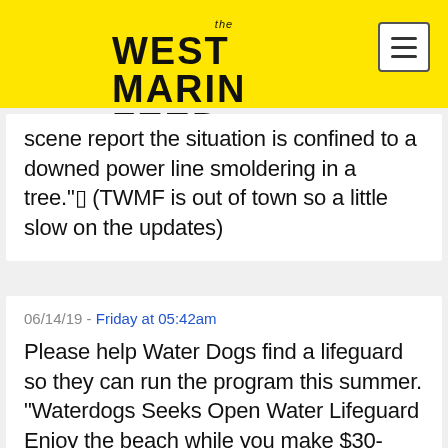the WEST MARIN FEED
scene report the situation is confined to a downed power line smoldering in a tree."⁂ (TWMF is out of town so a little slow on the updates)
06/14/19 - Friday at 05:42am
Please help Water Dogs find a lifeguard so they can run the program this summer. "Waterdogs Seeks Open Water Lifeguard Enjoy the beach while you make $30-40/hr. This unique opportunity is from July 15th to July 26th, 12:30- 3:30pm., at Shell Beach II, in Inverness CA. The Tomales Bay Waterdogs Swim Program is low cost Red Cross certification program that has been West Marin tradition since 1946. For more information please